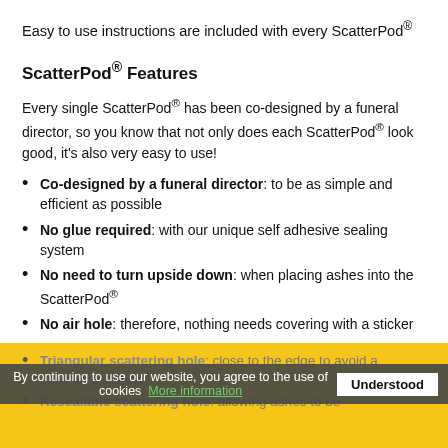Easy to use instructions are included with every ScatterPod®
ScatterPod® Features
Every single ScatterPod® has been co-designed by a funeral director, so you know that not only does each ScatterPod® look good, it's also very easy to use!
Co-designed by a funeral director: to be as simple and efficient as possible
No glue required: with our unique self adhesive sealing system
No need to turn upside down: when placing ashes into the ScatterPod®
No air hole: therefore, nothing needs covering with a sticker
Triangular scattering hole: close to the edge to avoid a build up of ashes
Resealable scattering hole: allowing ashes to be
By continuing to use our website, you agree to the use of cookies. More information  Understood